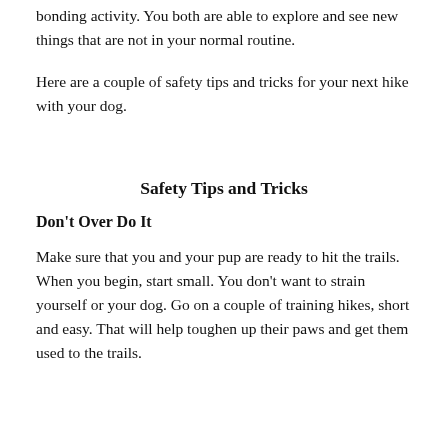bonding activity. You both are able to explore and see new things that are not in your normal routine.
Here are a couple of safety tips and tricks for your next hike with your dog.
Safety Tips and Tricks
Don't Over Do It
Make sure that you and your pup are ready to hit the trails. When you begin, start small. You don't want to strain yourself or your dog. Go on a couple of training hikes, short and easy. That will help toughen up their paws and get them used to the trails.